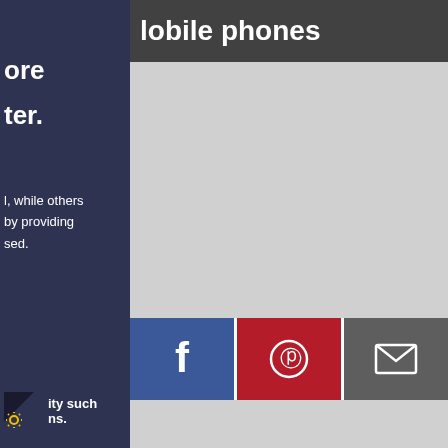mobile phones
[Figure (screenshot): Gray content area placeholder]
ore
ter.
l, while others by providing sed.
[Figure (other): Facebook share button (blue with f icon), Pinterest share button (red with p icon), Email share button (gray with envelope icon)]
us about your experience of the website today
ity such ns.
[Figure (other): Gear/settings icon (cookie settings)]